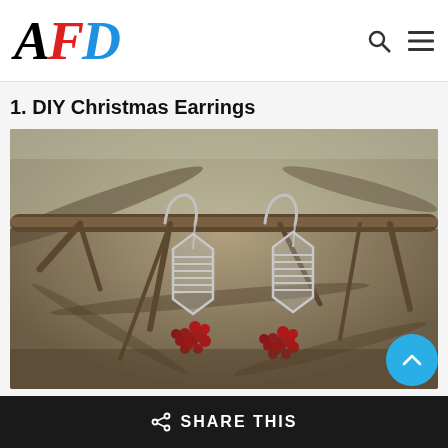AFD logo with search and menu icons
1. DIY Christmas Earrings
[Figure (photo): Two wire-wrapped silver geometric earrings hanging from a bare branch with small red berries below, outdoor blurred background]
SHARE THIS